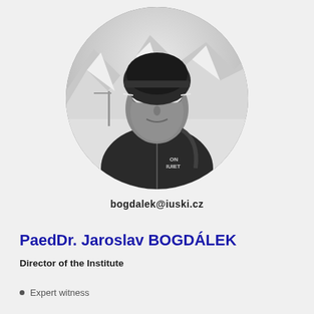[Figure (photo): Circular black and white portrait photo of a man wearing a dark beanie hat, white-framed sport sunglasses, and a dark athletic jacket with 'ON QUIET' text visible. Snowy mountain alpine landscape in the background.]
bogdalek@iuski.cz
PaedDr. Jaroslav BOGDÁLEK
Director of the Institute
Expert witness